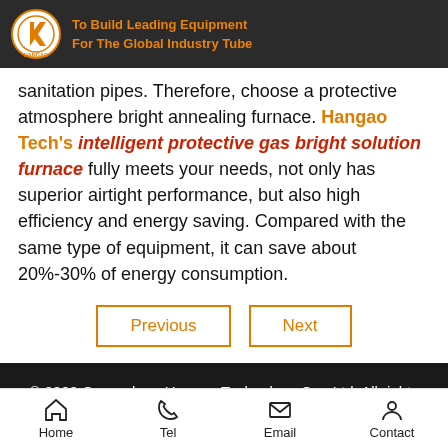To Build Leading Equipment For The Global Industry Tube
sanitation pipes. Therefore, choose a protective atmosphere bright annealing furnace. Hangao Tech's intelligent protective gas bright solution furnace fully meets your needs, not only has superior airtight performance, but also high efficiency and energy saving. Compared with the same type of equipment, it can save about 20%-30% of energy consumption.
Previous | Next
© 2020 Guangdong Hangao Technology Co., Ltd. All rights reserved.
Home  Tel  Email  Contact